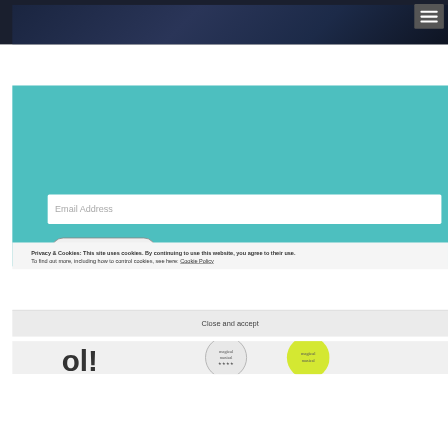[Figure (screenshot): Dark blue/navy image strip at the top of the page]
[Figure (other): Hamburger menu button (three horizontal lines) on dark grey background, top right corner]
[Figure (other): Teal colored blog subscription section with email input field and Follow Our Blog button]
Privacy & Cookies: This site uses cookies. By continuing to use this website, you agree to their use.
To find out more, including how to control cookies, see here: Cookie Policy
Close and accept
[Figure (other): Bottom strip with circular badge/stamp graphics partially visible]